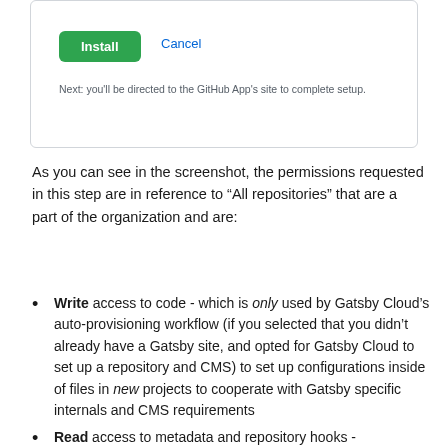[Figure (screenshot): GitHub App installation dialog showing Install and Cancel buttons with note: Next: you'll be directed to the GitHub App's site to complete setup.]
As you can see in the screenshot, the permissions requested in this step are in reference to “All repositories” that are a part of the organization and are:
Write access to code - which is only used by Gatsby Cloud’s auto-provisioning workflow (if you selected that you didn’t already have a Gatsby site, and opted for Gatsby Cloud to set up a repository and CMS) to set up configurations inside of files in new projects to cooperate with Gatsby specific internals and CMS requirements
Read access to metadata and repository hooks -